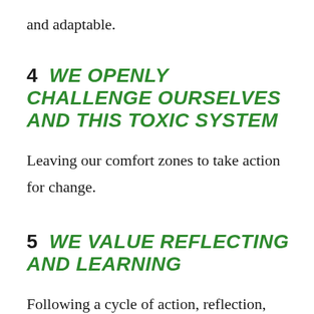and adaptable.
4   WE OPENLY CHALLENGE OURSELVES AND THIS TOXIC SYSTEM
Leaving our comfort zones to take action for change.
5   WE VALUE REFLECTING AND LEARNING
Following a cycle of action, reflection, learning, and planning for more action.
Learning from other movements and contexts